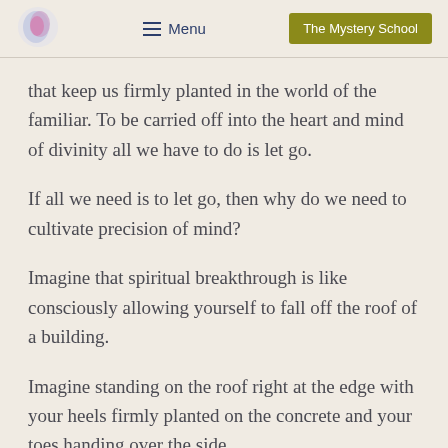Menu | The Mystery School
that keep us firmly planted in the world of the familiar. To be carried off into the heart and mind of divinity all we have to do is let go.
If all we need is to let go, then why do we need to cultivate precision of mind?
Imagine that spiritual breakthrough is like consciously allowing yourself to fall off the roof of a building.
Imagine standing on the roof right at the edge with your heels firmly planted on the concrete and your toes handing over the side.